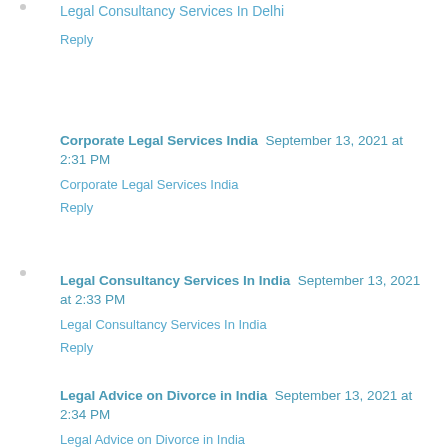Legal Consultancy Services In Delhi
Reply
Corporate Legal Services India  September 13, 2021 at 2:31 PM
Corporate Legal Services India
Reply
Legal Consultancy Services In India  September 13, 2021 at 2:33 PM
Legal Consultancy Services In India
Reply
Legal Advice on Divorce in India  September 13, 2021 at 2:34 PM
Legal Advice on Divorce in India
Reply